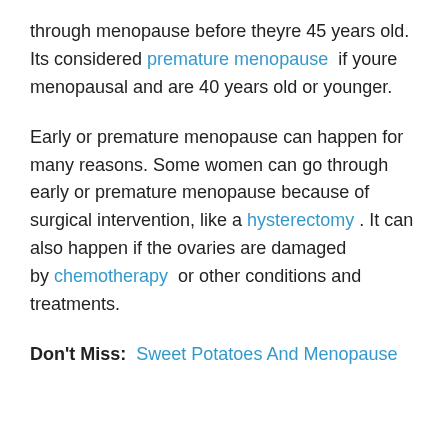through menopause before theyre 45 years old. Its considered premature menopause if youre menopausal and are 40 years old or younger.
Early or premature menopause can happen for many reasons. Some women can go through early or premature menopause because of surgical intervention, like a hysterectomy . It can also happen if the ovaries are damaged by chemotherapy or other conditions and treatments.
Don't Miss: Sweet Potatoes And Menopause